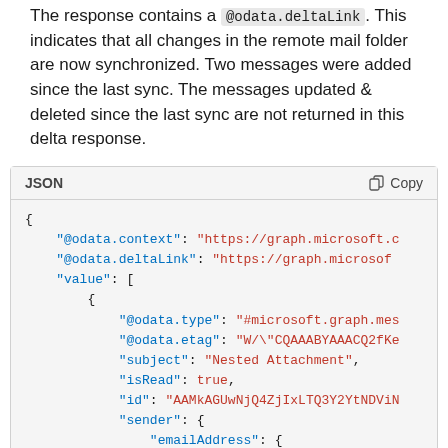The response contains a @odata.deltaLink. This indicates that all changes in the remote mail folder are now synchronized. Two messages were added since the last sync. The messages updated & deleted since the last sync are not returned in this delta response.
[Figure (screenshot): JSON code block showing a partial API response with @odata.context, @odata.deltaLink, value array containing an object with @odata.type, @odata.etag, subject: Nested Attachment, isRead: true, id, sender with emailAddress containing name: Patti Fernandez, address: PattiF@contoso.]